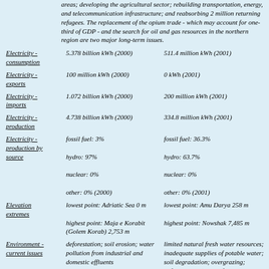areas; developing the agricultural sector; rebuilding transportation, energy, and telecommunication infrastructure; and reabsorbing 2 million returning refugees. The replacement of the opium trade - which may account for one-third of GDP - and the search for oil and gas resources in the northern region are two major long-term issues.
| Field | Country 1 | Country 2 |
| --- | --- | --- |
| Electricity - consumption | 5.378 billion kWh (2000) | 511.4 million kWh (2001) |
| Electricity - exports | 100 million kWh (2000) | 0 kWh (2001) |
| Electricity - imports | 1.072 billion kWh (2000) | 200 million kWh (2001) |
| Electricity - production | 4.738 billion kWh (2000) | 334.8 million kWh (2001) |
| Electricity - production by source | fossil fuel: 3%
hydro: 97%
nuclear: 0%
other: 0% (2000) | fossil fuel: 36.3%
hydro: 63.7%
nuclear: 0%
other: 0% (2001) |
| Elevation extremes | lowest point: Adriatic Sea 0 m
highest point: Maja e Korabit (Golem Korab) 2,753 m | lowest point: Amu Darya 258 m
highest point: Nowshak 7,485 m |
| Environment - current issues | deforestation; soil erosion; water pollution from industrial and domestic effluents | limited natural fresh water resources; inadequate supplies of potable water; soil degradation; overgrazing; deforestation (much of the remaining forests are being cut down for fuel and |